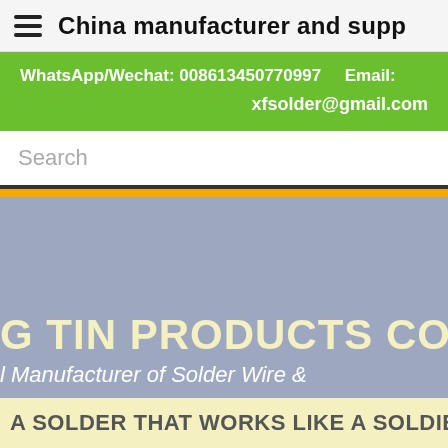China manufacturer and supplier
WhatsApp/Wechat: 008613450770997   Email: xfsolder@gmail.com
Search
G TIN PRODUCTS CO
l Manufacturer of Solder Wire &
A SOLDER THAT WORKS LIKE A SOLDIER